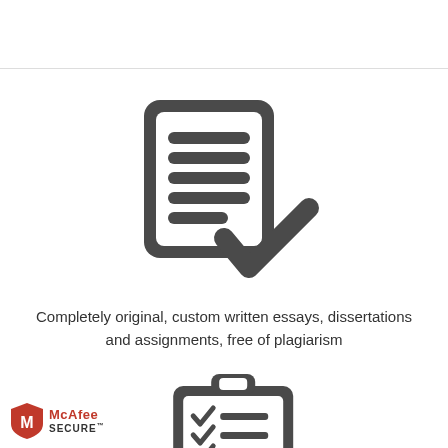[Figure (illustration): Document icon with checkmark – dark gray clipboard/document with horizontal lines and a checkmark overlapping bottom right]
Completely original, custom written essays, dissertations and assignments, free of plagiarism
[Figure (illustration): Clipboard icon with checklist items – dark gray clipboard with clip at top and three check marks with lines]
[Figure (logo): McAfee SECURE badge – red shield with M logo and McAfee SECURE text]